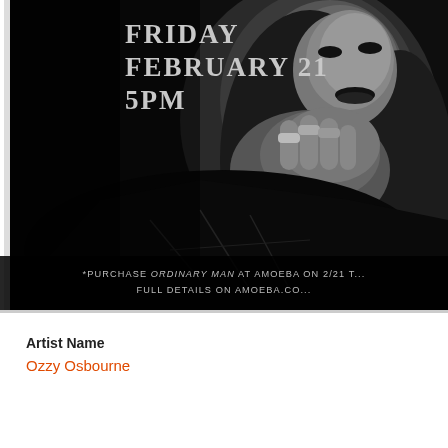[Figure (photo): Black and white promotional photo of Ozzy Osbourne holding his hand near his face showing rings, with dramatic lighting against dark background]
FRIDAY
FEBRUARY 21
5PM
*PURCHASE ORDINARY MAN AT AMOEBA ON 2/21 T... FULL DETAILS ON AMOEBA.CO...
Artist Name
Ozzy Osbourne